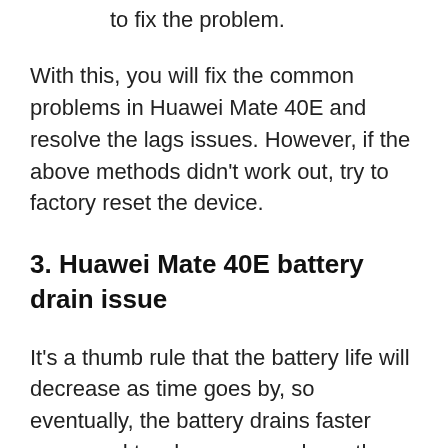to fix the problem.
With this, you will fix the common problems in Huawei Mate 40E and resolve the lags issues. However, if the above methods didn't work out, try to factory reset the device.
3. Huawei Mate 40E battery drain issue
It's a thumb rule that the battery life will decrease as time goes by, so eventually, the battery drains faster compared to when you purchase the phone. So, let's fix it!